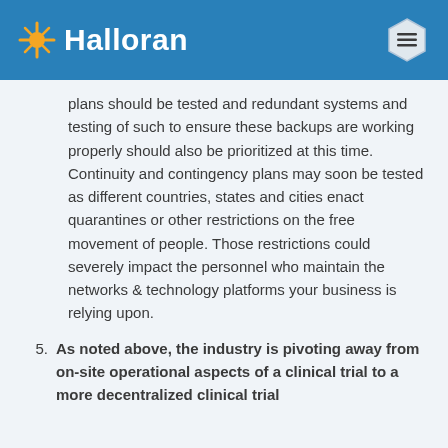Halloran
plans should be tested and redundant systems and testing of such to ensure these backups are working properly should also be prioritized at this time. Continuity and contingency plans may soon be tested as different countries, states and cities enact quarantines or other restrictions on the free movement of people. Those restrictions could severely impact the personnel who maintain the networks & technology platforms your business is relying upon.
5. As noted above, the industry is pivoting away from on-site operational aspects of a clinical trial to a more decentralized clinical trial